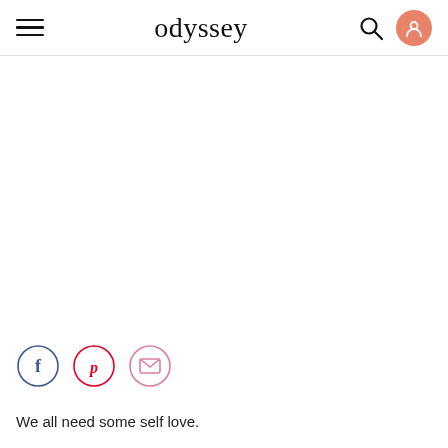odyssey
[Figure (other): Social share buttons: Facebook (blue circle), Pinterest (red circle), Email/envelope (pink circle)]
We all need some self love.